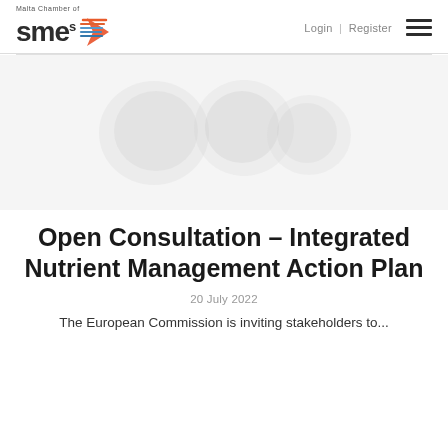Malta Chamber of SMEs | Login | Register
[Figure (photo): Hero image placeholder showing faded blobs/shapes in light gray on white background, representing an article thumbnail image]
Open Consultation – Integrated Nutrient Management Action Plan
20 July 2022
The European Commission is inviting stakeholders to...